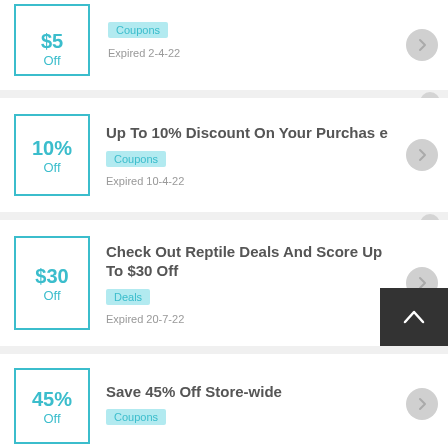[Figure (other): Coupon card partial: $5 Off, Coupons badge, Expired 2-4-22]
[Figure (other): Coupon card: 10% Off, Up To 10% Discount On Your Purchase, Coupons badge, Expired 10-4-22]
[Figure (other): Coupon card: $30 Off, Check Out Reptile Deals And Score Up To $30 Off, Deals badge, Expired 20-7-22]
[Figure (other): Coupon card partial: 45% Off, Save 45% Off Store-wide, Coupons badge]